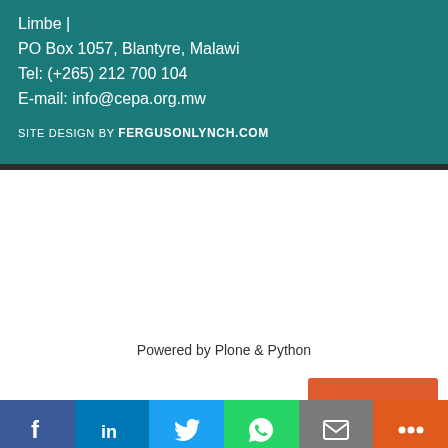Limbe | PO Box 1057, Blantyre, Malawi Tel: (+265) 212 700 104 E-mail: info@cepa.org.mw
SITE DESIGN BY FERGUSONLYNCH.COM
Powered by Plone & Python
Social share bar: Facebook, LinkedIn, Twitter, WhatsApp, Email, More